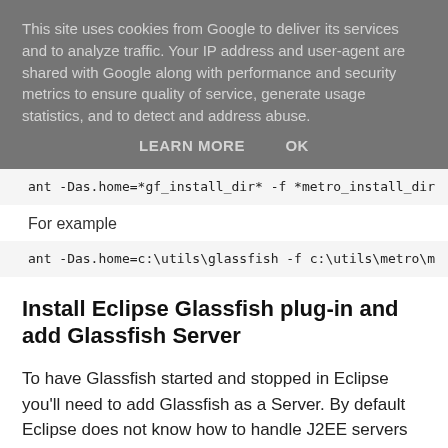This site uses cookies from Google to deliver its services and to analyze traffic. Your IP address and user-agent are shared with Google along with performance and security metrics to ensure quality of service, generate usage statistics, and to detect and address abuse.
LEARN MORE    OK
ant -Das.home=*gf_install_dir* -f *metro_install_dir
For example
ant -Das.home=c:\utils\glassfish -f c:\utils\metro\m
Install Eclipse Glassfish plug-in and add Glassfish Server
To have Glassfish started and stopped in Eclipse you'll need to add Glassfish as a Server. By default Eclipse does not know how to handle J2EE servers like Glassfish. So you'll have to install the Glassfish plug-in